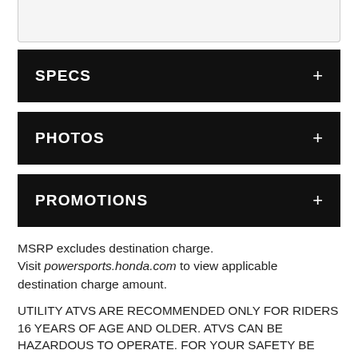[Figure (other): Top of a collapsed accordion section with light gray background, partial content visible]
SPECS
PHOTOS
PROMOTIONS
MSRP excludes destination charge. Visit powersports.honda.com to view applicable destination charge amount.
UTILITY ATVs ARE RECOMMENDED ONLY FOR RIDERS 16 YEARS OF AGE AND OLDER. ATVs CAN BE HAZARDOUS TO OPERATE. FOR YOUR SAFETY BE RESPONSIBLE. READ THE OWNER'S MANUAL. ALWAYS WEAR A HELMET, EYE PROTECTION AND PROTECTIVE CLOTHING. BE CAREFUL ON